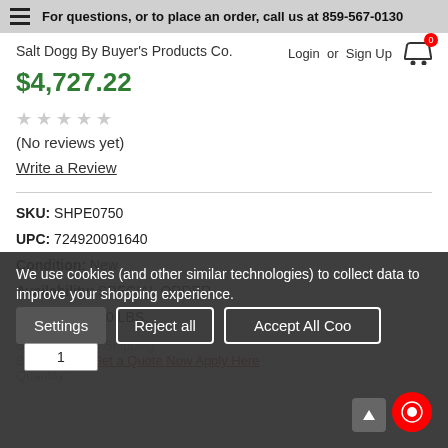For questions, or to place an order, call us at 859-567-0130
Salt Dogg By Buyer's Products Co.
$4,727.22
(No reviews yet)
Write a Review
SKU: SHPE0750
UPC: 724920091640
Condition: New
Availability: SPECIAL ORDER
Weight: 280.00 LBS
Shipping: Free Shipping
We use cookies (and other similar technologies) to collect data to improve your shopping experience.
Settings   Reject all   Accept All Cookies